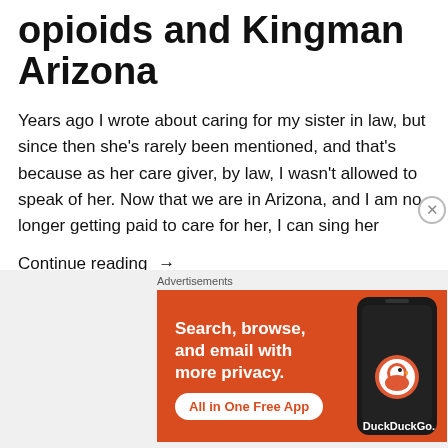opioids and Kingman Arizona
Years ago I wrote about caring for my sister in law, but since then she's rarely been mentioned, and that's because as her care giver, by law, I wasn't allowed to speak of her. Now that we are in Arizona, and I am no longer getting paid to care for her, I can sing her
Continue reading →
[Figure (other): DuckDuckGo advertisement banner showing: 'Search, browse, and email with more privacy. All in One Free App' with a phone graphic and DuckDuckGo logo on orange/red background.]